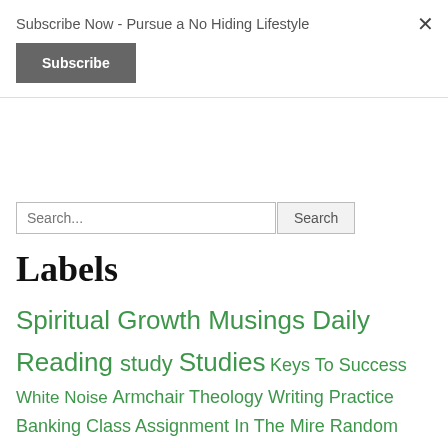Subscribe Now - Pursue a No Hiding Lifestyle
Subscribe
×
Search...
Labels
Spiritual Growth Musings Daily Reading study Studies Keys To Success White Noise Armchair Theology Writing Practice Banking Class Assignment In The Mire Random Faith Biblical Studies Renewing the Mind (Stinking Thinking) EMIC Emotions Prayer Time Resting Finances News & Events Recovery Financial Excellence News and